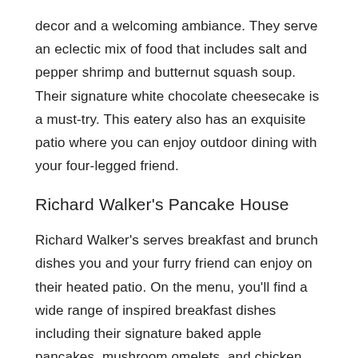decor and a welcoming ambiance. They serve an eclectic mix of food that includes salt and pepper shrimp and butternut squash soup. Their signature white chocolate cheesecake is a must-try. This eatery also has an exquisite patio where you can enjoy outdoor dining with your four-legged friend.
Richard Walker's Pancake House
Richard Walker's serves breakfast and brunch dishes you and your furry friend can enjoy on their heated patio. On the menu, you'll find a wide range of inspired breakfast dishes including their signature baked apple pancakes, mushroom omelets, and chicken breasts and egg whites.